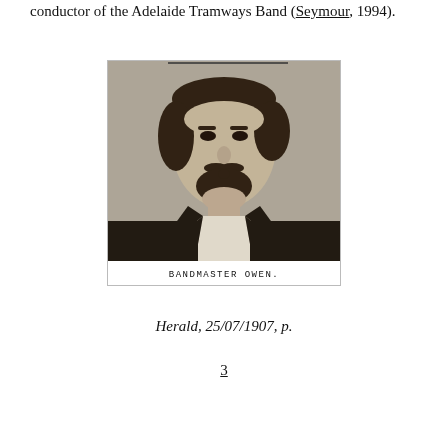conductor of the Adelaide Tramways Band (Seymour, 1994).
[Figure (photo): Black and white portrait photograph of Bandmaster Owen, a man with dark hair and a beard, wearing a suit. Caption below photo reads: BANDMASTER OWEN.]
Herald, 25/07/1907, p. 3